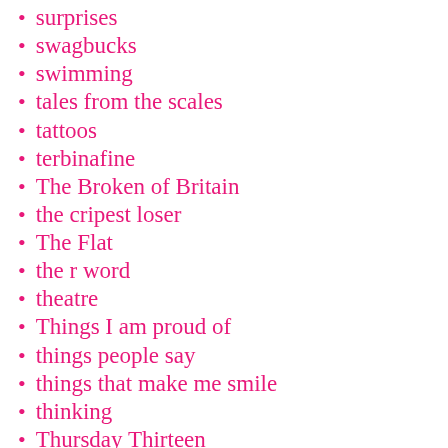surprises
swagbucks
swimming
tales from the scales
tattoos
terbinafine
The Broken of Britain
the cripest loser
The Flat
the r word
theatre
Things I am proud of
things people say
things that make me smile
thinking
Thursday Thirteen